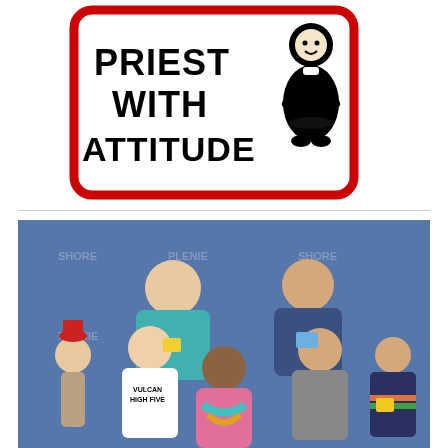[Figure (illustration): Sign illustration showing a cartoon priest figure with text 'PRIEST WITH ATTITUDE' in bold black letters inside a red-bordered rectangular sign]
[Figure (photo): Group photo of six people posing in front of a blue step-and-repeat banner. One person in the center front wears a pink jacket. One person wears a white t-shirt reading 'VULCAN HIGH FIVE'. A child on the left wears a red fez and bow tie.]